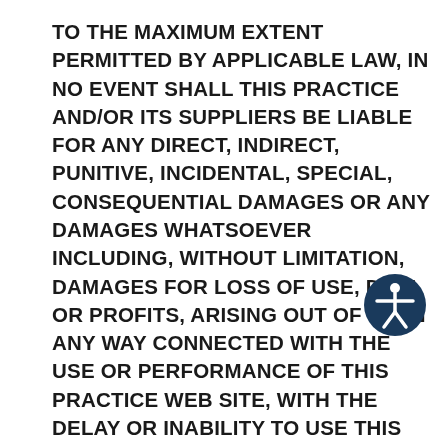TO THE MAXIMUM EXTENT PERMITTED BY APPLICABLE LAW, IN NO EVENT SHALL THIS PRACTICE AND/OR ITS SUPPLIERS BE LIABLE FOR ANY DIRECT, INDIRECT, PUNITIVE, INCIDENTAL, SPECIAL, CONSEQUENTIAL DAMAGES OR ANY DAMAGES WHATSOEVER INCLUDING, WITHOUT LIMITATION, DAMAGES FOR LOSS OF USE, DATA OR PROFITS, ARISING OUT OF OR IN ANY WAY CONNECTED WITH THE USE OR PERFORMANCE OF THIS PRACTICE WEB SITE, WITH THE DELAY OR INABILITY TO USE THIS PRACTICE WEB SITE OR RELATED SERVICES, THE PROVISION OF OR FAILURE TO PROVIDE SERVICES, OR FOR ANY INFORMATION, SOFTWARE, PRODUCTS,
[Figure (illustration): Accessibility icon: white person figure with arms outstretched inside a dark navy/blue circle]